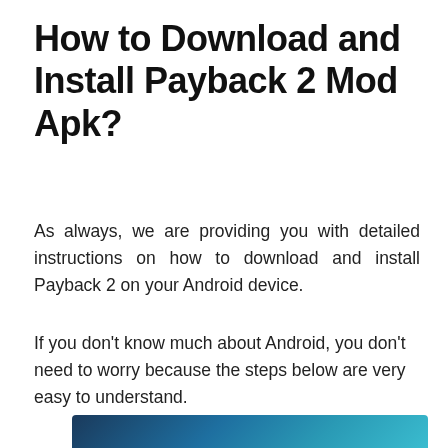How to Download and Install Payback 2 Mod Apk?
As always, we are providing you with detailed instructions on how to download and install Payback 2 on your Android device.
If you don’t know much about Android, you don’t need to worry because the steps below are very easy to understand.
[Figure (photo): Partial screenshot of the Payback 2 app or game interface showing a teal/blue gradient background with a white rectangular area visible at the bottom of the crop]